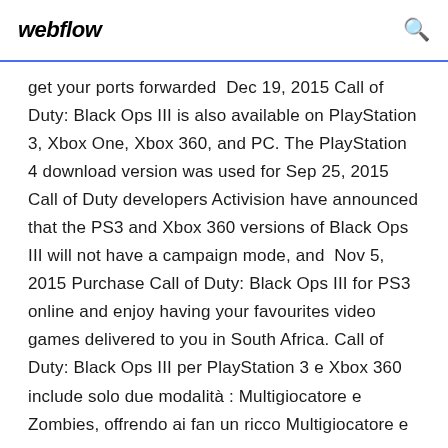webflow
get your ports forwarded  Dec 19, 2015 Call of Duty: Black Ops III is also available on PlayStation 3, Xbox One, Xbox 360, and PC. The PlayStation 4 download version was used for Sep 25, 2015 Call of Duty developers Activision have announced that the PS3 and Xbox 360 versions of Black Ops III will not have a campaign mode, and  Nov 5, 2015 Purchase Call of Duty: Black Ops III for PS3 online and enjoy having your favourites video games delivered to you in South Africa. Call of Duty: Black Ops III per PlayStation 3 e Xbox 360 include solo due modalità : Multigiocatore e Zombies, offrendo ai fan un ricco Multigiocatore e una